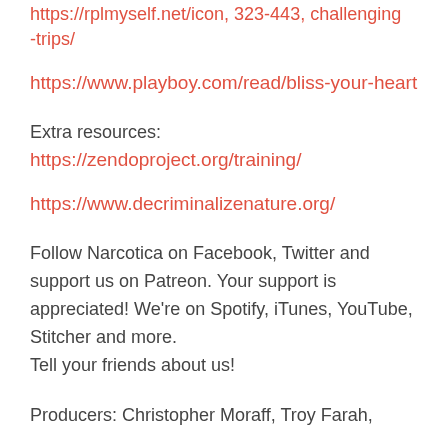https://rplmyself.net/icon, 323-443, challenging-trips/
https://www.playboy.com/read/bliss-your-heart
Extra resources:
https://zendoproject.org/training/
https://www.decriminalizenature.org/
Follow Narcotica on Facebook, Twitter and support us on Patreon. Your support is appreciated! We're on Spotify, iTunes, YouTube, Stitcher and more.
Tell your friends about us!
Producers: Christopher Moraff, Troy Farah,